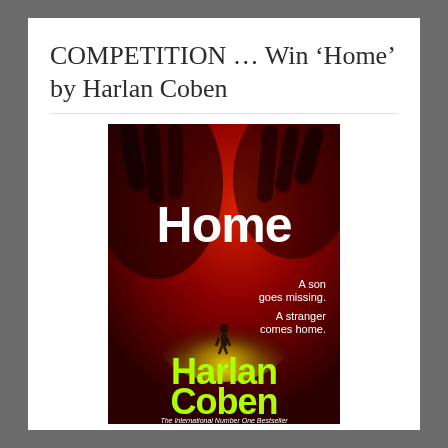COMPETITION … Win ‘Home’ by Harlan Coben
[Figure (photo): Book cover of 'Home' by Harlan Coben. Red background with silhouette of person in a glowing tunnel. Title 'Home' in large white bold text. Tagline: 'A son goes missing. A stranger comes home.' Author name 'Harlan Coben' in large bright green text at the bottom. Subtitle: 'The International Number One Bestseller'.]